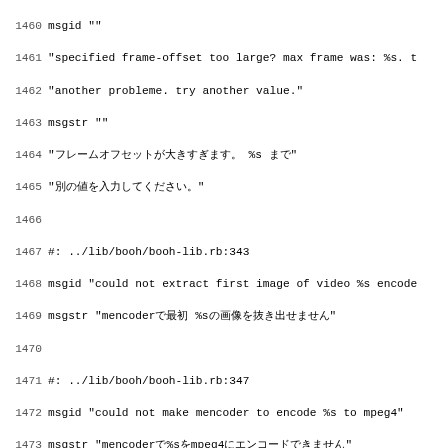Code/localization file snippet, lines 1460-1491, showing gettext .po file entries with msgid/msgstr pairs and source file references.